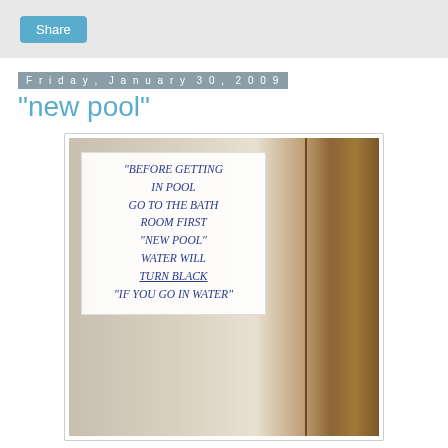Share
Friday, January 30, 2009
"new pool"
[Figure (photo): Photo of a handwritten sign taped to a wooden door/wall. The sign reads: 'BEFORE GETTING IN POOL GO TO THE BATH ROOM FIRST "NEW POOL" WATER WILL TURN BLACK "IF YOU GO IN WATER"']